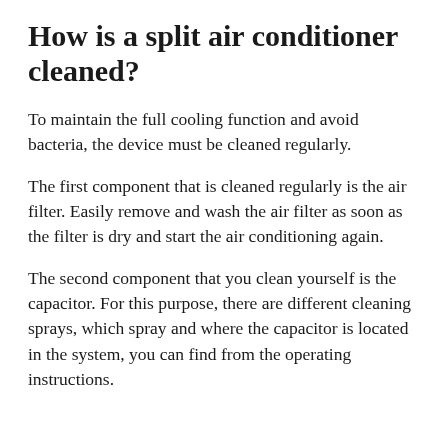How is a split air conditioner cleaned?
To maintain the full cooling function and avoid bacteria, the device must be cleaned regularly.
The first component that is cleaned regularly is the air filter. Easily remove and wash the air filter as soon as the filter is dry and start the air conditioning again.
The second component that you clean yourself is the capacitor. For this purpose, there are different cleaning sprays, which spray and where the capacitor is located in the system, you can find from the operating instructions.